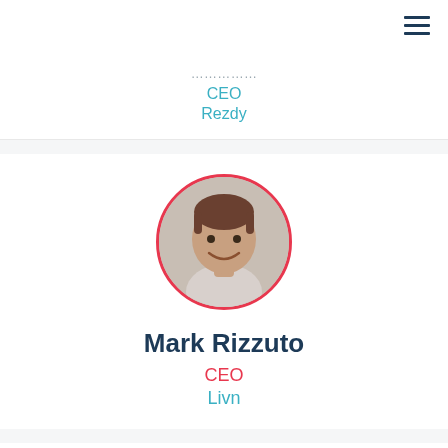CEO
Rezdy
[Figure (photo): Circular portrait photo of Mark Rizzuto with red/pink border]
Mark Rizzuto
CEO
Livn
[Figure (photo): Circular portrait photo partially visible at bottom with green border]